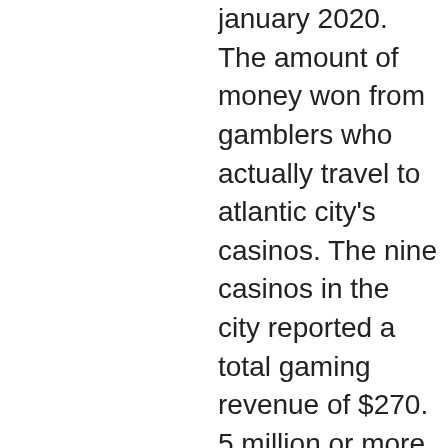january 2020. The amount of money won from gamblers who actually travel to atlantic city's casinos. The nine casinos in the city reported a total gaming revenue of $270. 5 million or more in january of 2020, which indicates an increment of $50 million. Atlantic city's casinos are forging ahead with ambitious new projects in 2022, even as the coronavirus pandemic continues to make it harder. Atlantic city casino revenue down 4. 9 percent in august. A view of atlantic city with the showboat and taj mahal casinos visible. Are behind their gambling revenue pace at the start of 2020: kansas. Their gambling revenue pace at the start of 2020: kansas (-11. Beginning in august 2020 (the first full month all nine casinos. Atlantic city — online gaming and sports betting contributed heavily to a double-digit percentage increase in gaming revenue for the city's nine casinos last